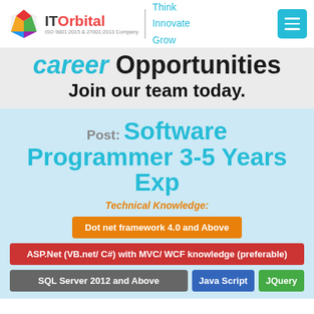ITOrbital — Think Innovate Grow
career Opportunities
Join our team today.
Post: Software Programmer 3-5 Years Exp
Technical Knowledge:
Dot net framework 4.0 and Above
ASP.Net (VB.net/ C#) with MVC/ WCF knowledge (preferable)
SQL Server 2012 and Above
Java Script
JQuery